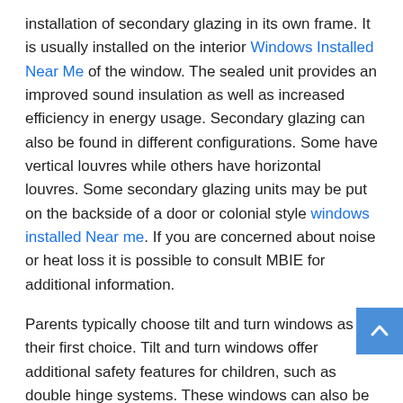installation of secondary glazing in its own frame. It is usually installed on the interior Windows Installed Near Me of the window. The sealed unit provides an improved sound insulation as well as increased efficiency in energy usage. Secondary glazing can also be found in different configurations. Some have vertical louvres while others have horizontal louvres. Some secondary glazing units may be put on the backside of a door or colonial style windows installed Near me. If you are concerned about noise or heat loss it is possible to consult MBIE for additional information.
Parents typically choose tilt and turn windows as their first choice. Tilt and turn windows offer additional safety features for children, such as double hinge systems. These windows can also be opened completely using the hinge system to the side. The tilt and turn window is one of the most useful kinds of double glazing. Its benefits are